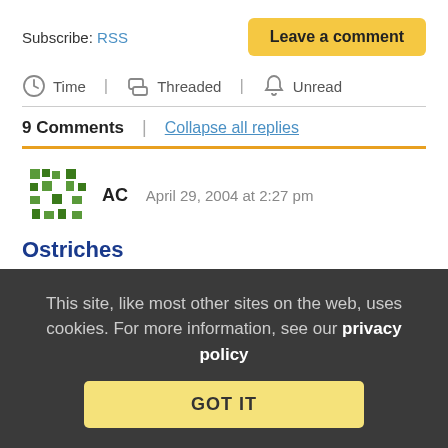Subscribe: RSS
Leave a comment
Time | Threaded | Unread
9 Comments | Collapse all replies
AC   April 29, 2004 at 2:27 pm
Ostriches
Inventing is the easy part; the hard part is getting people to recognize innovation and a brand new way of doing things.
This site, like most other sites on the web, uses cookies. For more information, see our privacy policy
GOT IT